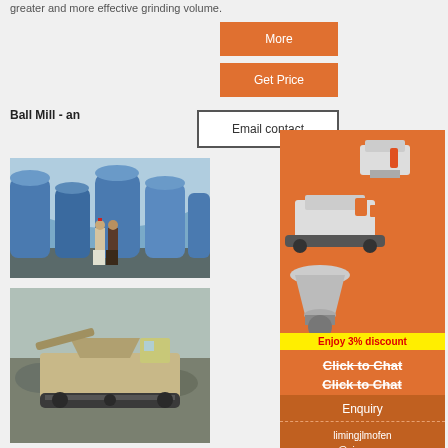greater and more effective grinding volume.
More
Get Price
Ball Mill - an
Email contact
[Figure (photo): Two people standing in an industrial facility with large blue grinding mill machines]
[Figure (photo): Mobile crusher/mining equipment on rocky terrain outdoors]
[Figure (photo): Orange sidebar advertisement showing industrial crushing and grinding equipment machines]
Enjoy 3% discount
Click to Chat
Enquiry
limingjlmofen @sina.com